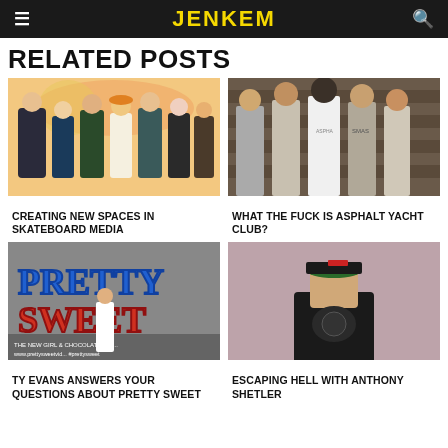JENKEM
RELATED POSTS
[Figure (illustration): Illustrated group of skateboarders, colorful background]
CREATING NEW SPACES IN SKATEBOARD MEDIA
[Figure (photo): Group of young men standing in front of a wooden wall, wearing Asphalt Yacht Club shirts]
WHAT THE FUCK IS ASPHALT YACHT CLUB?
[Figure (photo): Pretty Sweet skateboard video promotional poster with person standing in front of large blue and red text]
TY EVANS ANSWERS YOUR QUESTIONS ABOUT PRETTY SWEET
[Figure (photo): Portrait of Anthony Shetler wearing a cap and black shirt]
ESCAPING HELL WITH ANTHONY SHETLER